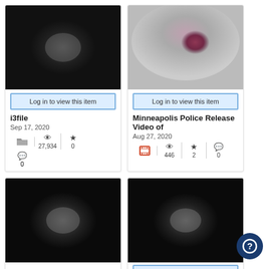[Figure (screenshot): Card 1: blurred dark thumbnail image (i3file)]
Log in to view this item
i3file
Sep 17, 2020
27,934 views, 0 favorites, 0 comments
[Figure (screenshot): Card 2: blurred thumbnail with red/purple blotch (Minneapolis Police Release Video of)]
Log in to view this item
Minneapolis Police Release Video of
Aug 27, 2020
446 views, 2 favorites, 0 comments
[Figure (screenshot): Card 3: blurred dark thumbnail (bottom left)]
[Figure (screenshot): Card 4: blurred dark thumbnail (bottom right)]
Log in to view this item